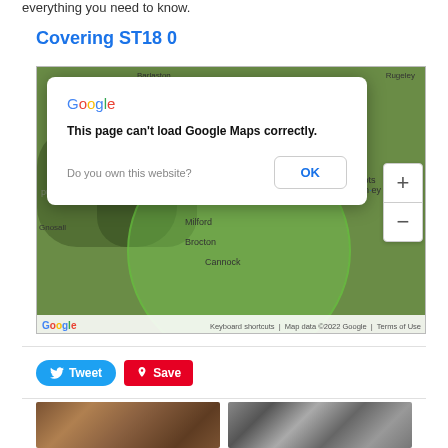everything you need to know.
Covering ST18 0
[Figure (screenshot): Google Maps embed showing ST18 0 area with a dialog overlay saying 'This page can't load Google Maps correctly.' and an OK button. Map shows places including Barlaston, Stafford, Gnosall, Great Haywood, Abbots Bromley, Milford, Brocton, Cannock. Green circle overlay on map. Google logo and map data credits at bottom.]
Tweet  Save
[Figure (photo): Two thumbnail images of pipes at the bottom of the page — one showing brown/copper-colored pipes, one showing black and white pipes.]